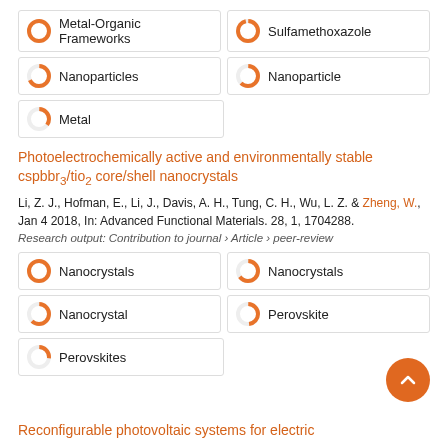[Figure (infographic): Keyword badges with donut/percentage icons: Metal-Organic Frameworks (100%), Sulfamethoxazole (~96%), Nanoparticles (~68%), Nanoparticle (~62%), Metal (~35%)]
Photoelectrochemically active and environmentally stable cspbbr₃/tio₂ core/shell nanocrystals
Li, Z. J., Hofman, E., Li, J., Davis, A. H., Tung, C. H., Wu, L. Z. & Zheng, W., Jan 4 2018, In: Advanced Functional Materials. 28, 1, 1704288.
Research output: Contribution to journal › Article › peer-review
[Figure (infographic): Keyword badges with donut/percentage icons: Nanocrystals (100%), Nanocrystals (~65%), Nanocrystal (~62%), Perovskite (~48%), Perovskites (~27%)]
Reconfigurable photovoltaic systems for electric